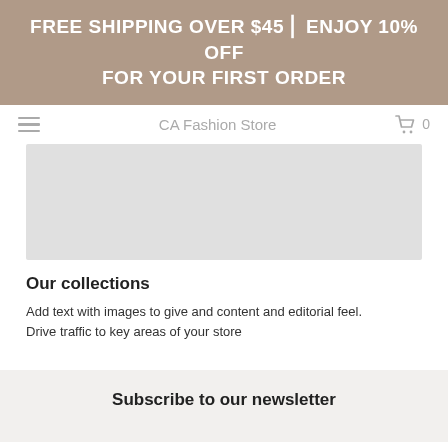FREE SHIPPING OVER $45 || ENJOY 10% OFF FOR YOUR FIRST ORDER
CA Fashion Store
[Figure (illustration): Grey placeholder hero image banner area]
Our collections
Add text with images to give and content and editorial feel. Drive traffic to key areas of your store
Subscribe to our newsletter